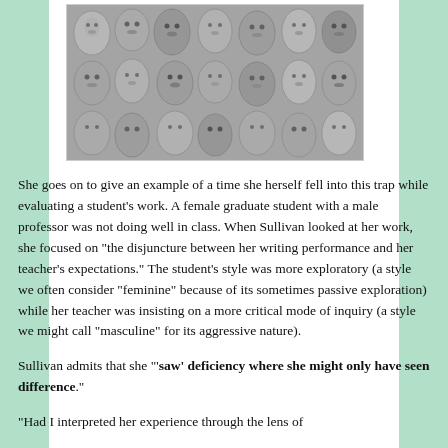[Figure (photo): Black and white photograph showing many doll or mannequin faces/masks packed closely together, rows of faces with various expressions.]
She goes on to give an example of a time she herself fell into this trap while evaluating a student's work. A female graduate student with a male professor was not doing well in class. When Sullivan looked at her work, she focused on "the disjuncture between her writing performance and her teacher's expectations." The student's style was more exploratory (a style we often consider "feminine" because of its sometimes passive exploration) while her teacher was insisting on a more critical mode of inquiry (a style we might call "masculine" for its aggressive nature).
Sullivan admits that she "'saw' deficiency where she might only have seen difference."
"Had I interpreted her experience through the lens of